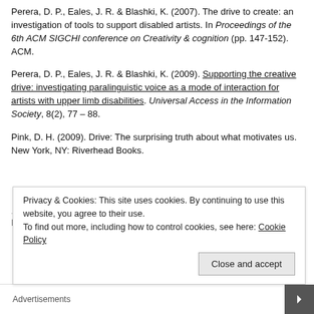Perera, D. P., Eales, J. R. & Blashki, K. (2007). The drive to create: an investigation of tools to support disabled artists. In Proceedings of the 6th ACM SIGCHI conference on Creativity & cognition (pp. 147-152). ACM.
Perera, D. P., Eales, J. R. & Blashki, K. (2009). Supporting the creative drive: investigating paralinguistic voice as a mode of interaction for artists with upper limb disabilities. Universal Access in the Information Society, 8(2), 77 – 88.
Pink, D. H. (2009). Drive: The surprising truth about what motivates us. New York, NY: Riverhead Books.
Privacy & Cookies: This site uses cookies. By continuing to use this website, you agree to their use. To find out more, including how to control cookies, see here: Cookie Policy
Close and accept
Advertisements